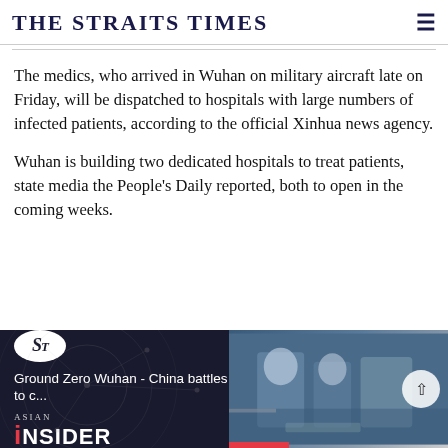THE STRAITS TIMES
The medics, who arrived in Wuhan on military aircraft late on Friday, will be dispatched to hospitals with large numbers of infected patients, according to the official Xinhua news agency.
Wuhan is building two dedicated hospitals to treat patients, state media the People's Daily reported, both to open in the coming weeks.
[Figure (screenshot): Bottom banner showing The Straits Times Asian Insider promotional section with ST logo circle, network graphic overlay, text 'Ground Zero Wuhan - China battles to c...' and a photo of medical workers in protective gear, with a scroll-up button]